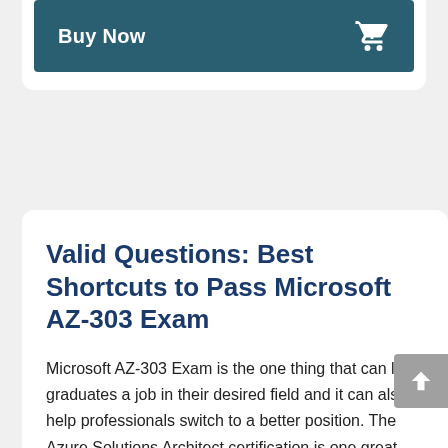[Figure (screenshot): Buy Now button bar with teal background and shopping cart icon]
Valid Questions: Best Shortcuts to Pass Microsoft AZ-303 Exam
Microsoft AZ-303 Exam is the one thing that can land graduates a job in their desired field and it can also help professionals switch to a better position. The Azure Solutions Architect certification is one great way to impress employers and win the job over all the other contenders. (Valid Questions) have designed a